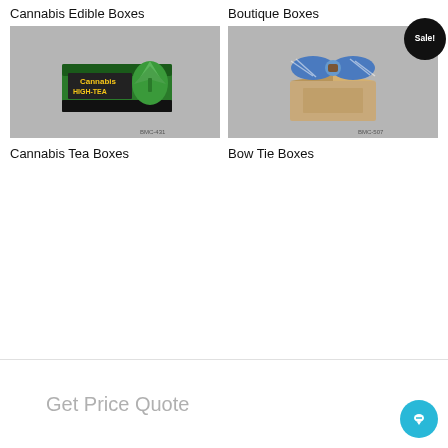Cannabis Edible Boxes
Boutique Boxes
[Figure (photo): Cannabis High-Tea box product photo on gray background, code BMC-431]
[Figure (photo): Bow tie gift box with blue striped bow tie on gray background, code BMC-507, with Sale! badge]
Cannabis Tea Boxes
Bow Tie Boxes
Get Price Quote